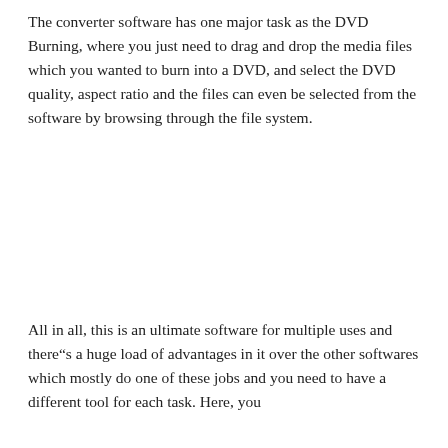The converter software has one major task as the DVD Burning, where you just need to drag and drop the media files which you wanted to burn into a DVD, and select the DVD quality, aspect ratio and the files can even be selected from the software by browsing through the file system.
All in all, this is an ultimate software for multiple uses and there"s a huge load of advantages in it over the other softwares which mostly do one of these jobs and you need to have a different tool for each task. Here, you